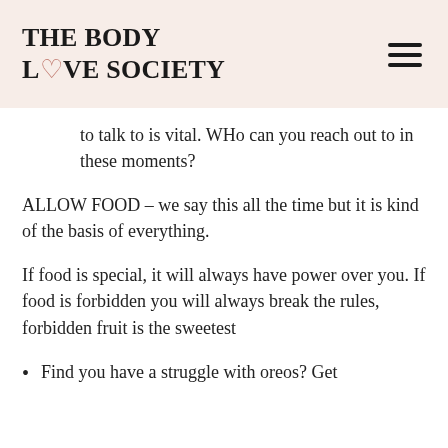THE BODY LOVE SOCIETY
to talk to is vital. WHo can you reach out to in these moments?
ALLOW FOOD – we say this all the time but it is kind of the basis of everything.
If food is special, it will always have power over you. If food is forbidden you will always break the rules, forbidden fruit is the sweetest
Find you have a struggle with oreos? Get